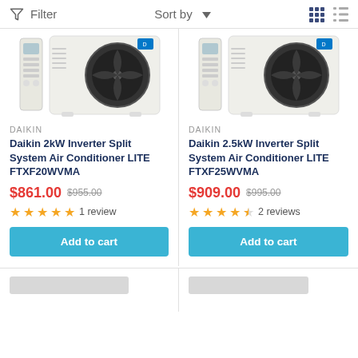Filter   Sort by   [grid view] [list view]
[Figure (photo): Daikin 2kW air conditioner outdoor unit with remote control]
DAIKIN
Daikin 2kW Inverter Split System Air Conditioner LITE FTXF20WVMA
$861.00  $955.00
★★★★★ 1 review
Add to cart
[Figure (photo): Daikin 2.5kW air conditioner outdoor unit with remote control]
DAIKIN
Daikin 2.5kW Inverter Split System Air Conditioner LITE FTXF25WVMA
$909.00  $995.00
★★★★½ 2 reviews
Add to cart